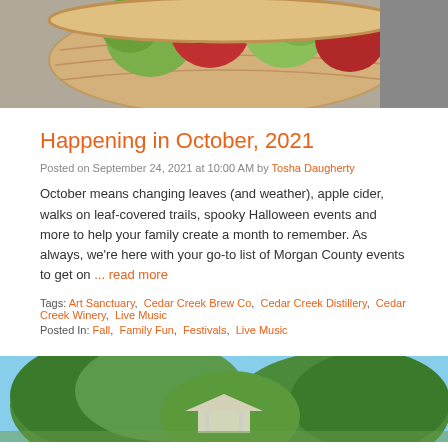[Figure (photo): Top portion of a photo showing a basket of apples (green and red), cropped at the top of the page.]
Happening in October, 2021
Posted on September 24, 2021 at 10:00 AM by Tosha Daugherty
October means changing leaves (and weather), apple cider, walks on leaf-covered trails, spooky Halloween events and more to help your family create a month to remember. As always, we're here with your go-to list of Morgan County events to get on ... read more
Tags: Art Sanctuary,  Cedar Creek Brew Co,  Cedar Creek Distillery,  Cedar Creek Winery,  Live Music
Posted In: Fall,  Family Fun,  Festivals,  Live Music
[Figure (photo): Bottom portion of a photo showing green trees against a blue sky, with what appears to be a gazebo or pavilion structure visible among the trees.]